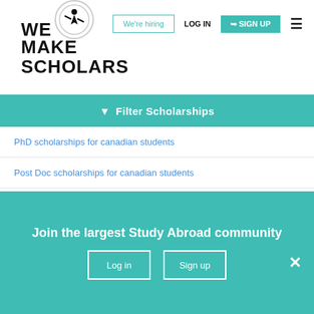[Figure (logo): We Make Scholars logo with silhouette figure in circle]
We're hiring | LOG IN | SIGN UP
Filter Scholarships
PhD scholarships for canadian students
Post Doc scholarships for canadian students
Diploma scholarships for canadian students
Training & Short courses scholarships for canadian students
Conferences & Travel Grants scholarships for canadian students
Research Fellow/ Scientist scholarships for canadian students
Join the largest Study Abroad community
Log in | Sign up